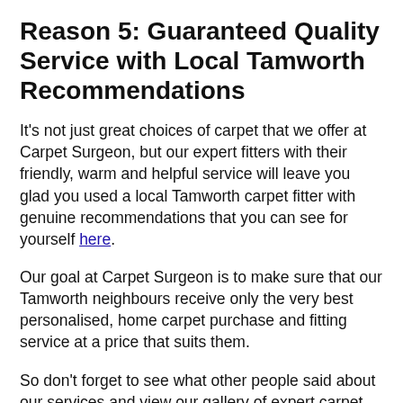Reason 5: Guaranteed Quality Service with Local Tamworth Recommendations
It’s not just great choices of carpet that we offer at Carpet Surgeon, but our expert fitters with their friendly, warm and helpful service will leave you glad you used a local Tamworth carpet fitter with genuine recommendations that you can see for yourself here.
Our goal at Carpet Surgeon is to make sure that our Tamworth neighbours receive only the very best personalised, home carpet purchase and fitting service at a price that suits them.
So don’t forget to see what other people said about our services and view our gallery of expert carpet fitting and repairs!